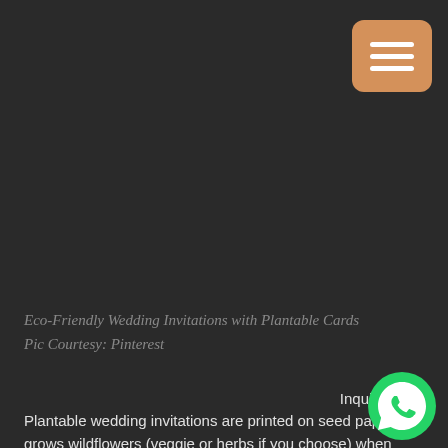[Figure (other): Dark background menu button area with hamburger icon in orange/tan rounded square]
Eco-Friendly Wedding Invitations with Plantable Cards
Pic Courtesy: Pinterest
Inquire Now:
Plantable wedding invitations are printed on seed paper that grows wildflowers (veggie or herbs if you choose) when invitation is planted in soil. Invitations are printed on a recycled paper cardstock and come with a seed paper hand
[Figure (logo): WhatsApp green circle logo icon]